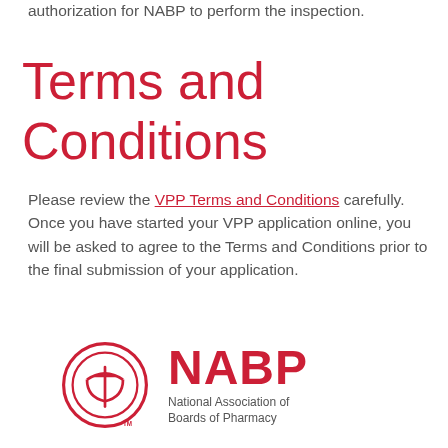authorization for NABP to perform the inspection.
Terms and Conditions
Please review the VPP Terms and Conditions carefully. Once you have started your VPP application online, you will be asked to agree to the Terms and Conditions prior to the final submission of your application.
[Figure (logo): NABP logo: circular pharmacy symbol with mortar and pestle, alongside NABP wordmark and 'National Association of Boards of Pharmacy' text]